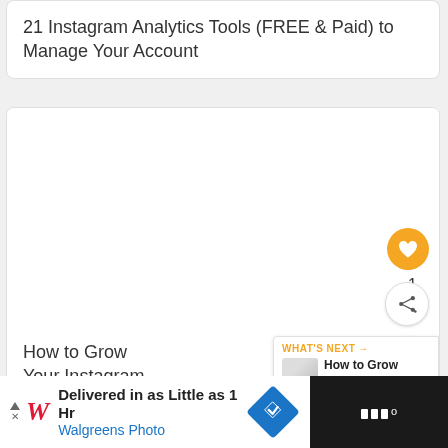21 Instagram Analytics Tools (FREE & Paid) to Manage Your Account
[Figure (screenshot): Article card with blank image area, heart/like button showing count of 1, and share button]
How to Grow Your Instagram Account in 2023 [Free Tool Inside]
WHAT'S NEXT → How to Grow Your...
[Figure (screenshot): Advertisement banner: Delivered in as Little as 1 Hr — Walgreens Photo, with navigation arrow badge and dark right panel with triple-bar icon]